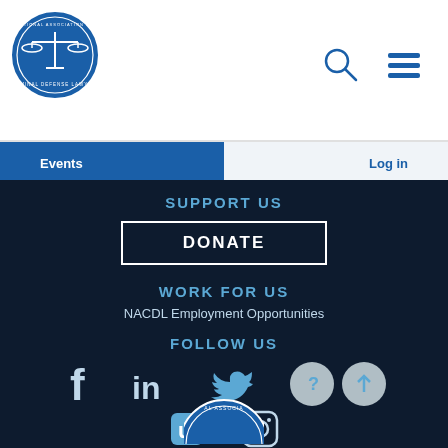[Figure (logo): NACDL National Association of Criminal Defense Lawyers circular badge logo in blue and white]
[Figure (illustration): Search magnifying glass icon]
[Figure (illustration): Hamburger menu icon (three horizontal lines)]
Events
Log in
SUPPORT US
DONATE
WORK FOR US
NACDL Employment Opportunities
FOLLOW US
[Figure (illustration): Social media icons: Facebook (f), LinkedIn (in), Twitter bird, Umbraco (U), Instagram camera, help circle, up arrow circle]
[Figure (logo): Partial NACDL logo at bottom of page]